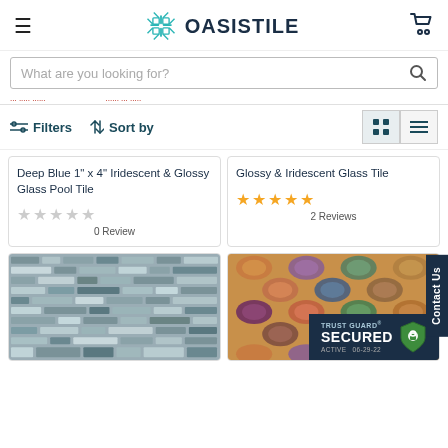OASISTILE
What are you looking for?
Filters  Sort by
Deep Blue 1" x 4" Iridescent & Glossy Glass Pool Tile
0 Review
Glossy & Iridescent Glass Tile
2 Reviews
[Figure (photo): Mosaic glass tile in grey/blue tones arranged in horizontal brick pattern]
[Figure (photo): Arabesque/lantern shaped ceramic tiles in mixed earthy tones with iridescent finish]